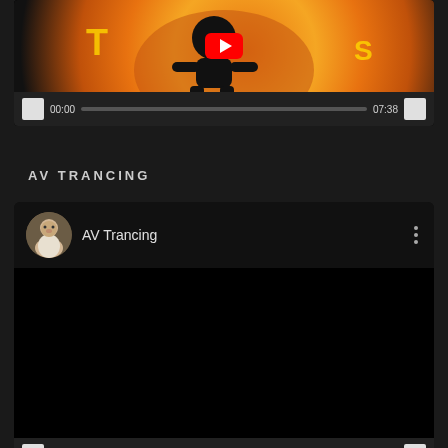[Figure (screenshot): YouTube video player showing a thumbnail with orange/red cartoon character animation and YouTube play button overlay, with playback controls showing 00:00 and 07:38]
AV TRANCING
[Figure (screenshot): YouTube channel card for AV Trancing with avatar of bearded old man, black video area, and playback controls showing 00:00 and 07:36]